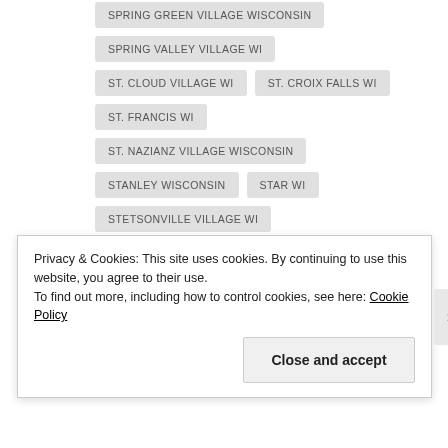SPRING GREEN VILLAGE WISCONSIN
SPRING VALLEY VILLAGE WI
ST. CLOUD VILLAGE WI
ST. CROIX FALLS WI
ST. FRANCIS WI
ST. NAZIANZ VILLAGE WISCONSIN
STANLEY WISCONSIN
STAR WI
STETSONVILLE VILLAGE WI
STEUBEN VILLAGE WISCONSIN
STEVENS POINT WI
STOCKBRIDGE VILLAGE WISCONSIN
STOCKHOLM VILLAGE WI
Privacy & Cookies: This site uses cookies. By continuing to use this website, you agree to their use.
To find out more, including how to control cookies, see here: Cookie Policy
Close and accept